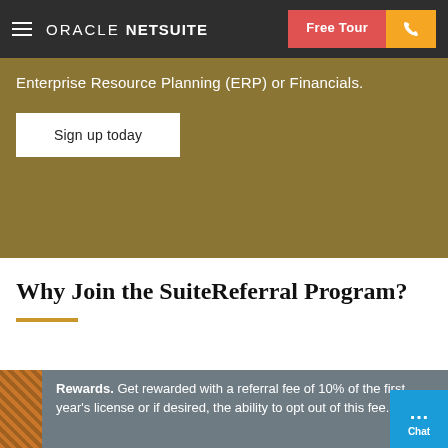ORACLE NETSUITE — Free Tour | Phone
Enterprise Resource Planning (ERP) or Financials.
Sign up today
Why Join the SuiteReferral Program?
Rewards. Get rewarded with a referral fee of 10% of the first year's license or if desired, the ability to opt out of this fee.